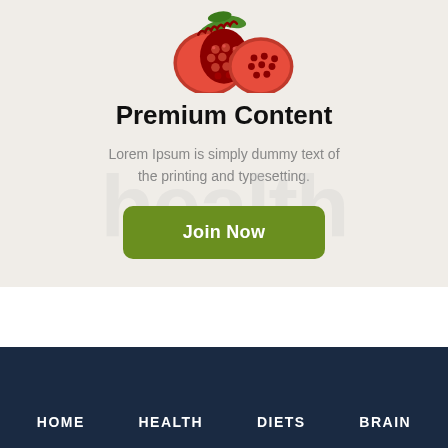[Figure (photo): Pomegranate fruit cut in half showing red seeds, with green leaves, on a light beige background]
Premium Content
Lorem Ipsum is simply dummy text of the printing and typesetting.
[Figure (other): Watermark text reading 'health' in large light gray letters across the background]
Join Now
HOME   HEALTH   DIETS   BRAIN